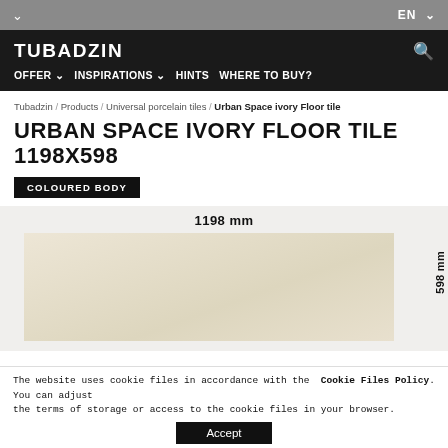EN
TUBADZIN | OFFER | INSPIRATIONS | HINTS | WHERE TO BUY?
Tubadzin / Products / Universal porcelain tiles / Urban Space ivory Floor tile
URBAN SPACE IVORY FLOOR TILE 1198X598
COLOURED BODY
[Figure (other): Tile product image showing ivory/beige floor tile with dimension label 1198 mm on top and 598 mm on the right side]
The website uses cookie files in accordance with the Cookie Files Policy. You can adjust the terms of storage or access to the cookie files in your browser. Accept